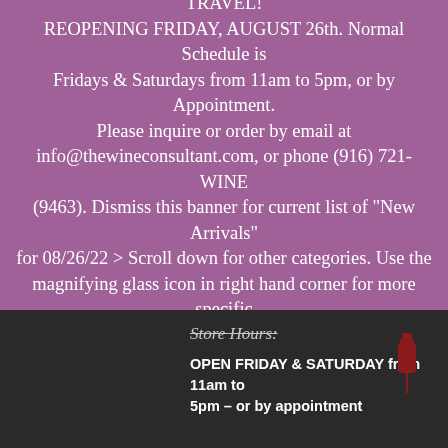WE ARE CURRENTLY CLOSED FOR WINE TRAVEL! REOPENING FRIDAY, AUGUST 26th. Normal Schedule is Fridays & Saturdays from 11am to 5pm, or by Appointment. Please inquire or order by email at info@thewineconsultant.com, or phone (916) 721-WINE (9463). Dismiss this banner for current list of "New Arrivals" for 08/26/22 > Scroll down for other categories. Use the magnifying glass icon in right hand corner for more specific searches. Dismiss
Store Hours:
OPEN FRIDAY & SATURDAY from 11am to 5pm – or by appointment
[Figure (illustration): Small red wine bottle or sign icon]